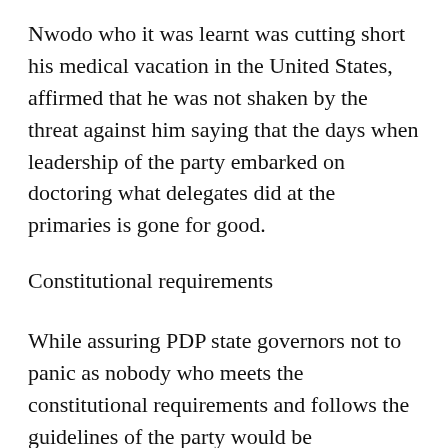Nwodo who it was learnt was cutting short his medical vacation in the United States, affirmed that he was not shaken by the threat against him saying that the days when leadership of the party embarked on doctoring what delegates did at the primaries is gone for good.
Constitutional requirements
While assuring PDP state governors not to panic as nobody who meets the constitutional requirements and follows the guidelines of the party would be shortchanged at the primaries, Nwodo urged the governors to note that their fate is with the delegates and not party leaders.